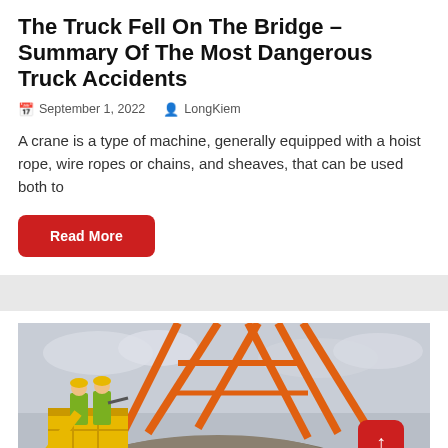The Truck Fell On The Bridge – Summary Of The Most Dangerous Truck Accidents
September 1, 2022   LongKiem
A crane is a type of machine, generally equipped with a hoist rope, wire ropes or chains, and sheaves, that can be used both to
Read More
[Figure (photo): Two construction workers in yellow hi-vis jackets and hard hats on a cherry picker/lift platform, with orange crane rigging structures and a large rock/boulder being suspended, against a grey overcast sky.]